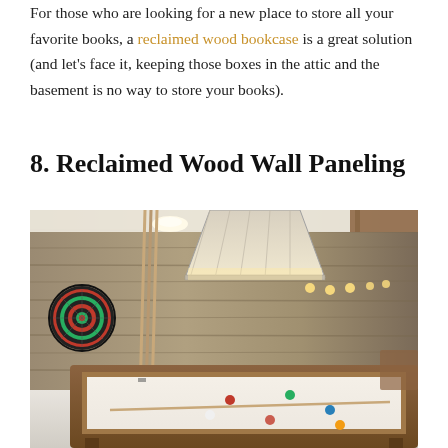For those who are looking for a new place to store all your favorite books, a reclaimed wood bookcase is a great solution (and let's face it, keeping those boxes in the attic and the basement is no way to store your books).
8. Reclaimed Wood Wall Paneling
[Figure (photo): Interior photo of a game room with reclaimed wood wall paneling, a pool table in the foreground, a dartboard on the wall, pool cues leaning against the wall, and a decorative pendant light hanging from the ceiling.]